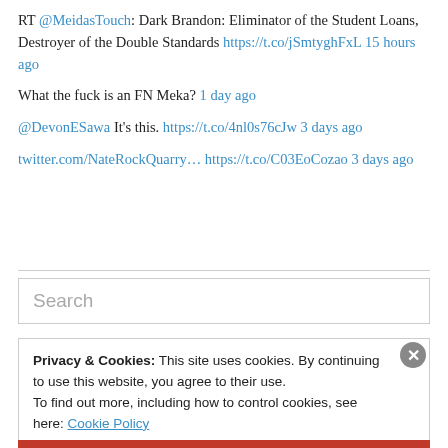RT @MeidasTouch: Dark Brandon: Eliminator of the Student Loans, Destroyer of the Double Standards https://t.co/jSmtyghFxL 15 hours ago
What the fuck is an FN Meka? 1 day ago
@DevonESawa It's this. https://t.co/4nl0s76cJw 3 days ago
twitter.com/NateRockQuarry… https://t.co/C03EoCozao 3 days ago
[Figure (screenshot): Search input box with placeholder text 'Search']
Privacy & Cookies: This site uses cookies. By continuing to use this website, you agree to their use. To find out more, including how to control cookies, see here: Cookie Policy
Close and accept